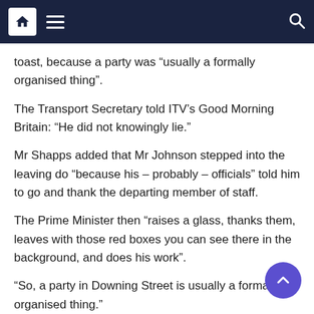Navigation bar with home, menu, and search icons
toast, because a party was “usually a formally organised thing”.
The Transport Secretary told ITV’s Good Morning Britain: “He did not knowingly lie.”
Mr Shapps added that Mr Johnson stepped into the leaving do “because his – probably – officials” told him to go and thank the departing member of staff.
The Prime Minister then “raises a glass, thanks them, leaves with those red boxes you can see there in the background, and does his work”.
“So, a party in Downing Street is usually a formally organised thing.”
Don’t miss: